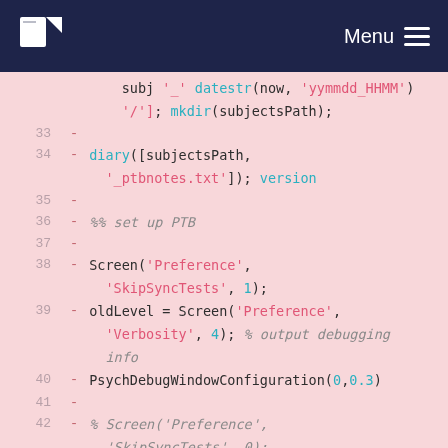Menu
[Figure (screenshot): Code editor screenshot showing MATLAB/Octave code lines 33-44 with syntax highlighting on a pink background. Lines show diary setup, PTB initialization using Screen and PsychDebugWindowConfiguration calls.]